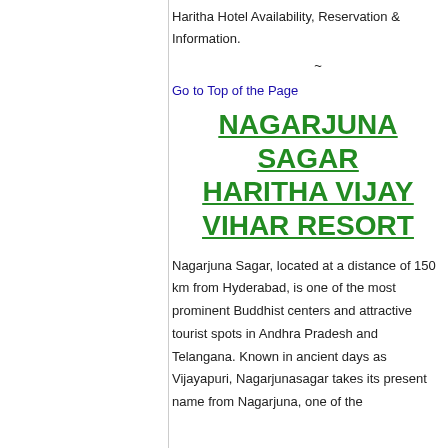Haritha Hotel Availability, Reservation & Information.
~
Go to Top of the Page
NAGARJUNA SAGAR HARITHA VIJAY VIHAR RESORT
Nagarjuna Sagar, located at a distance of 150 km from Hyderabad, is one of the most prominent Buddhist centers and attractive tourist spots in Andhra Pradesh and Telangana. Known in ancient days as Vijayapuri, Nagarjunasagar takes its present name from Nagarjuna, one of the